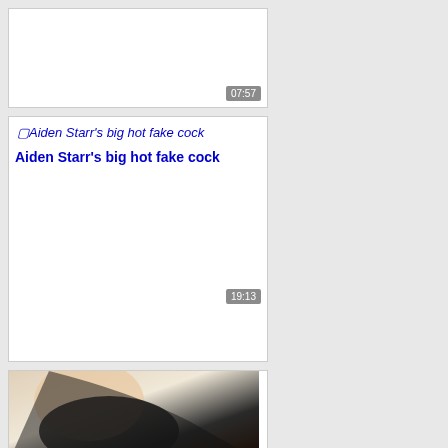[Figure (screenshot): Video thumbnail card with timestamp 07:57, white background]
[Figure (screenshot): Video card showing broken image icon with alt text 'Aiden Starr's big hot fake cock', title text below in blue bold, timestamp 19:13]
[Figure (photo): Photo of a blonde woman in a black leather outfit]